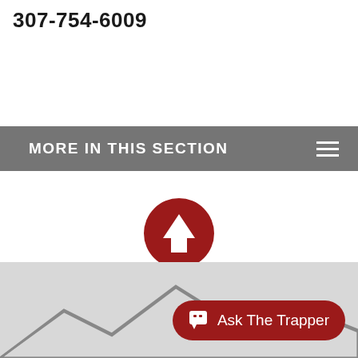307-754-6009
MORE IN THIS SECTION
[Figure (infographic): Dark red circle with white upward arrow icon (back to top button)]
[Figure (infographic): Bottom gray section with mountain silhouette and red 'Ask The Trapper' chat button]